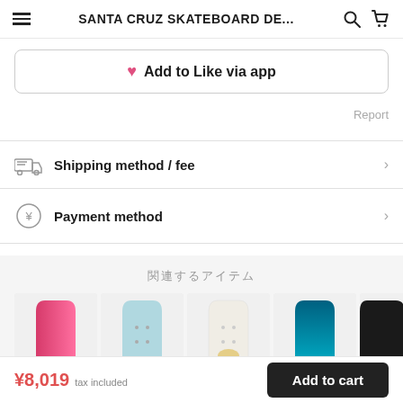SANTA CRUZ SKATEBOARD DE...
♥ Add to Like via app
Report
Shipping method / fee
Payment method
関連するアイテム
[Figure (photo): Five skateboard decks in different colors: pink, light blue, white, teal, and black, shown side by side]
¥8,019 tax included
Add to cart